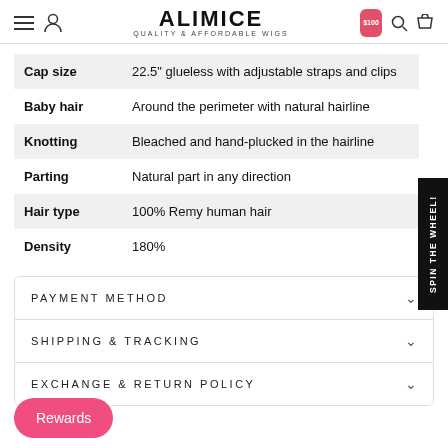ALIMICE QUALITY & AFFORDABLE WIGS
|  |  |
| --- | --- |
| Cap size | 22.5" glueless with adjustable straps and clips |
| Baby hair | Around the perimeter with natural hairline |
| Knotting | Bleached and hand-plucked in the hairline |
| Parting | Natural part in any direction |
| Hair type | 100% Remy human hair |
| Density | 180% |
SPIN THE WHEEL!
PAYMENT METHOD
SHIPPING & TRACKING
EXCHANGE & RETURN POLICY
Rewards